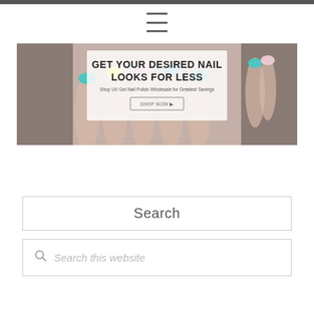[Figure (infographic): Banner advertisement: GET YOUR DESIRED NAIL LOOKS FOR LESS. Shop UV Gel Nail Polish Wholesale for Greatest Savings. SHOP NOW button. Background shows hands with colorful nail polish.]
Search
Search this website